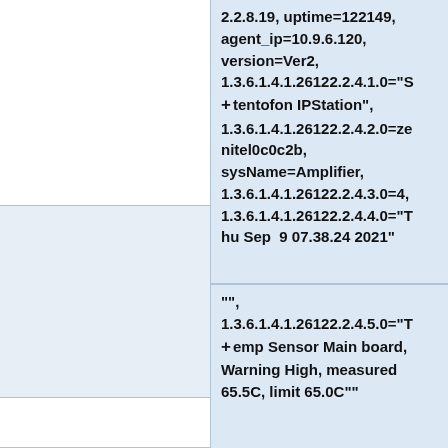2.2.8.19, uptime=122149, agent_ip=10.9.6.120, version=Ver2, 1.3.6.1.4.1.26122.2.4.1.0="Stentofon IPStation", 1.3.6.1.4.1.26122.2.4.2.0=zenitel0c0c2b, sysName=Amplifier, 1.3.6.1.4.1.26122.2.4.3.0=4, 1.3.6.1.4.1.26122.2.4.4.0="Thu Sep  9 07.38.24 2021"
"", 1.3.6.1.4.1.26122.2.4.5.0="Temp Sensor Main board, Warning High, measured 65.5C, limit 65.0C""
|-
|psuVoltageFault